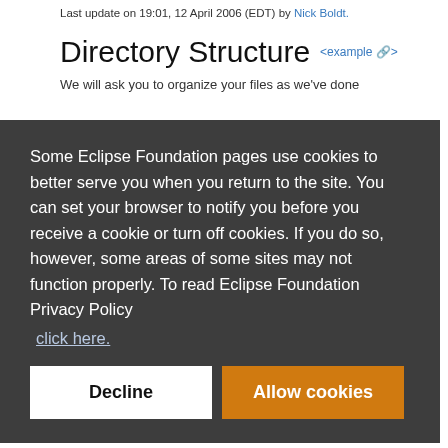Last update on 19:01, 12 April 2006 (EDT) by Nick Boldt.
Directory Structure <example>
We will ask you to organize your files as we've done
Some Eclipse Foundation pages use cookies to better serve you when you return to the site. You can set your browser to notify you before you receive a cookie or turn off cookies. If you do so, however, some areas of some sites may not function properly. To read Eclipse Foundation Privacy Policy
click here.
Decline
Allow cookies
2. doc: